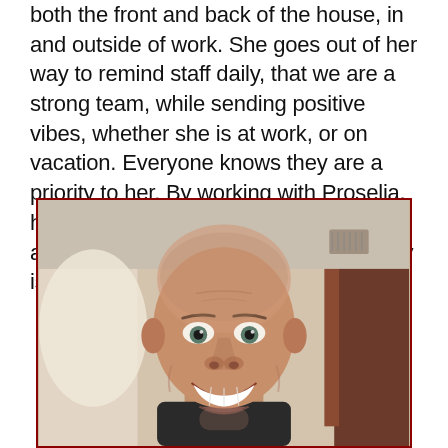both the front and back of the house, in and outside of work. She goes out of her way to remind staff daily, that we are a strong team, while sending positive vibes, whether she is at work, or on vacation. Everyone knows they are a priority to her. By working with Proselia, her teammates feel happier, hopeful, and acknowledged. This positive energy is always passed on to the guests.
[Figure (photo): Portrait photo of a smiling bald man with light stubble, wearing a dark collared shirt, photographed indoors with a blurred background showing light-colored walls and dark wooden elements.]